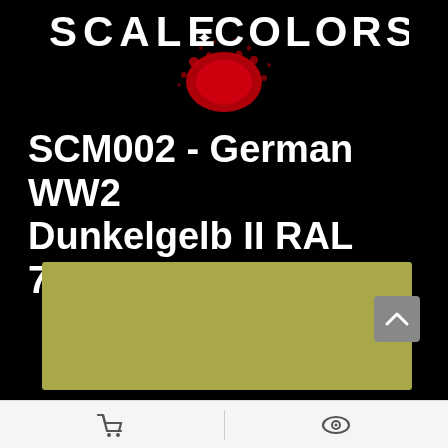[Figure (logo): Scale Colors brand logo in white distressed/grunge lettering with a red paint splatter, on black background]
SCM002 - German WW2 Dunkelgelb II RAL 7028
[Figure (illustration): Large rectangular color swatch showing the Dunkelgelb II RAL 7028 color — an olive/yellow-green muted tone]
[Figure (screenshot): Bottom navigation bar with shopping cart icon on left and eye/view icon on right, plus a scroll-to-top arrow button on the right side]